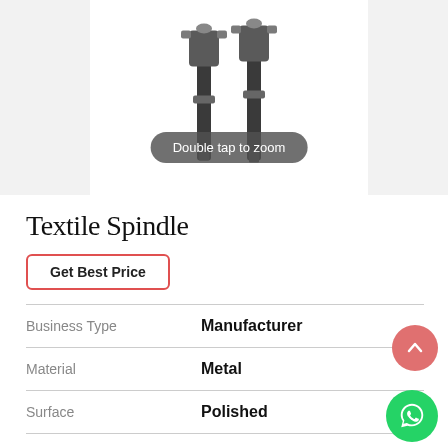[Figure (photo): Photo of textile spindles — two metallic spindles with clamp-style tops on dark shafts, shown against a white background inside a product listing image frame. A 'Double tap to zoom' pill overlay is visible at the bottom center of the image.]
Textile Spindle
Get Best Price
| Property | Value |
| --- | --- |
| Business Type | Manufacturer |
| Material | Metal |
| Surface | Polished |